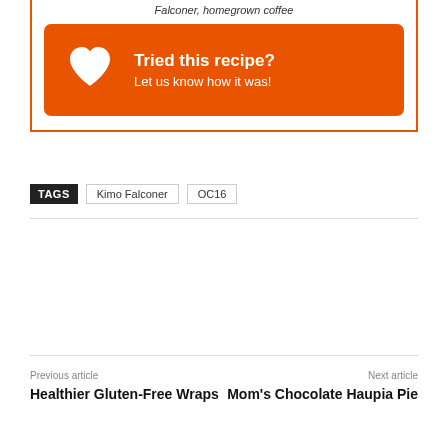Falconer, homegrown coffee
[Figure (infographic): Orange banner with white heart icon and text 'Tried this recipe? Let us know how it was!']
TAGS  Kimo Falconer  OC16
Previous article
Healthier Gluten-Free Wraps
Next article
Mom's Chocolate Haupia Pie